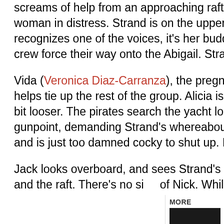screams of help from an approaching raft. A young man shouts for help, there's a pregnant woman in distress. Strand is on the upper deck listening in. Alicia hears the commotion, and recognizes one of the voices, it's her buddy Jack. Aww, shoot! Jack, along with Reed and his crew force their way onto the Abigail. Strand warned you, Alicia, this one is on you.
Vida (Veronica Diaz-Carranza), the pregnant woman, knocks Maddie out, ties her hands and helps tie up the rest of the group. Alicia is forced to help, maybe leaving Daniel's restraints a bit looser. The pirates search the yacht looking for Strand and Nick. Reed has Chris at gunpoint, demanding Strand's whereabouts. He sure knows a lot about who's on the boat, and is just too damned cocky to shut up. I want to hurt him. Real bad.
Jack looks overboard, and sees Strand's raft leaving. Reed fires two shots and hits Strand and the raft. There's no sign of Nick. While Strand lays cold and wounded, we finally g...